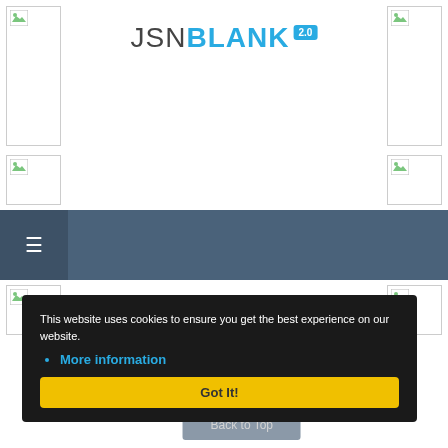[Figure (logo): JSN BLANK 2.0 logo with blue text and badge]
[Figure (screenshot): Broken image placeholder top-left]
[Figure (screenshot): Broken image placeholder top-right]
[Figure (screenshot): Broken image placeholder mid-left]
[Figure (screenshot): Broken image placeholder mid-right]
[Figure (screenshot): Navigation bar with hamburger menu]
This website uses cookies to ensure you get the best experience on our website.
More information
Got It!
[Figure (screenshot): Broken image placeholder bottom-left]
[Figure (screenshot): Broken image placeholder bottom-right]
Back to Top